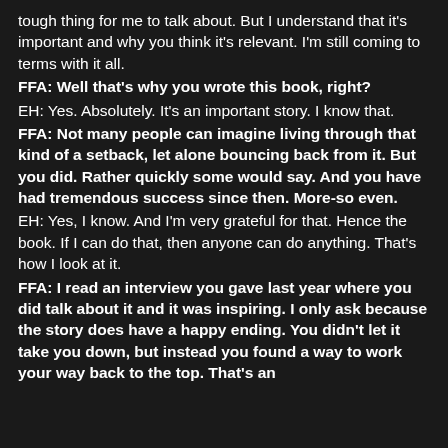tough thing for me to talk about. But I understand that it's important and why you think it's relevant. I'm still coming to terms with it all.
FFA: Well that's why you wrote this book, right?
EH: Yes. Absolutely. It's an important story. I know that.
FFA: Not many people can imagine living through that kind of a setback, let alone bouncing back from it. But you did. Rather quickly some would say. And you have had tremendous success since then. More-so even.
EH: Yes, I know. And I'm very grateful for that. Hence the book. If I can do that, then anyone can do anything. That's how I look at it.
FFA: I read an interview you gave last year where you did talk about it and it was inspiring. I only ask because the story does have a happy ending. You didn't let it take you down, but instead you found a way to work your way back to the top. That's an